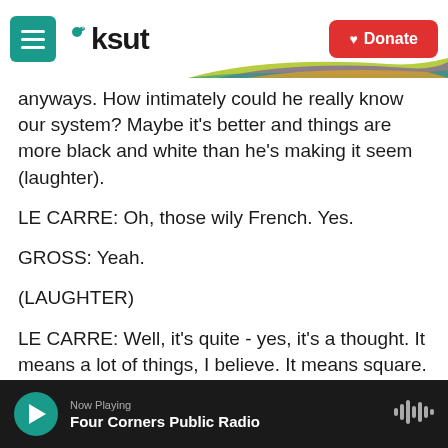KSUT
anyways. How intimately could he really know our system? Maybe it's better and things are more black and white than he's making it seem (laughter).
LE CARRE: Oh, those wily French. Yes.
GROSS: Yeah.
(LAUGHTER)
LE CARRE: Well, it's quite - yes, it's a thought. It means a lot of things, I believe. It means square. (Speaking French) is a dance where people wear
Now Playing
Four Corners Public Radio